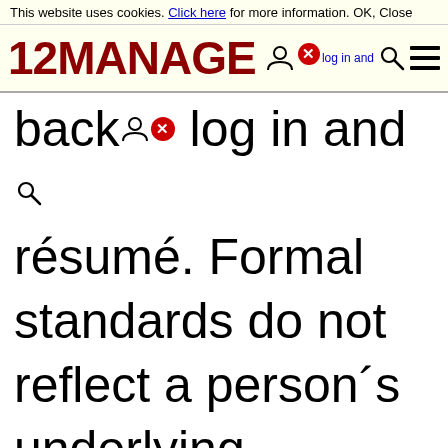This website uses cookies. Click here for more information. OK. Close
[Figure (logo): 12MANAGE logo with user icon, red X badge, OK/Close links, and hamburger menu]
background and résumé. Formal standards do not reflect a person´s underlying capabilities, but are